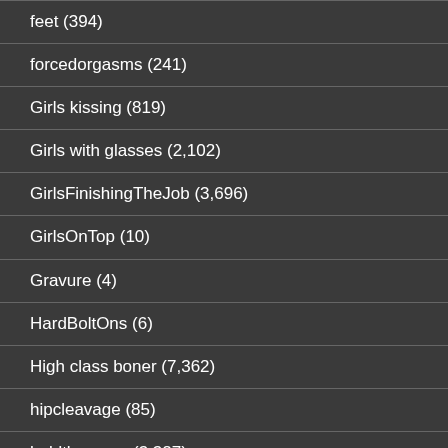feet (394)
forcedorgasms (241)
Girls kissing (819)
Girls with glasses (2,102)
GirlsFinishingTheJob (3,696)
GirlsOnTop (10)
Gravure (4)
HardBoltOns (6)
High class boner (7,362)
hipcleavage (85)
holdthemoan (3,327)